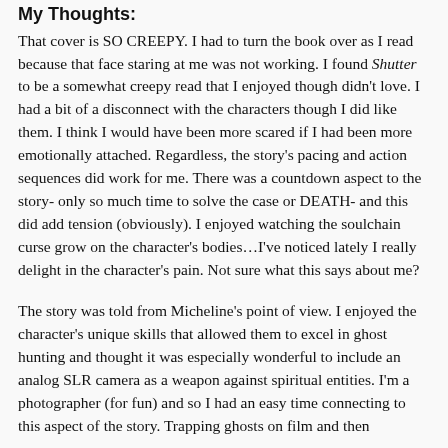My Thoughts:
That cover is SO CREEPY. I had to turn the book over as I read because that face staring at me was not working. I found Shutter to be a somewhat creepy read that I enjoyed though didn't love. I had a bit of a disconnect with the characters though I did like them. I think I would have been more scared if I had been more emotionally attached. Regardless, the story's pacing and action sequences did work for me. There was a countdown aspect to the story- only so much time to solve the case or DEATH- and this did add tension (obviously). I enjoyed watching the soulchain curse grow on the character's bodies…I've noticed lately I really delight in the character's pain. Not sure what this says about me?
The story was told from Micheline's point of view. I enjoyed the character's unique skills that allowed them to excel in ghost hunting and thought it was especially wonderful to include an analog SLR camera as a weapon against spiritual entities. I'm a photographer (for fun) and so I had an easy time connecting to this aspect of the story. Trapping ghosts on film and then